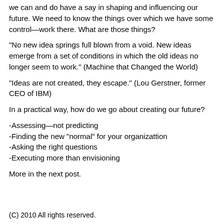we can and do have a say in shaping and influencing our future. We need to know the things over which we have some control—work there. What are those things?
“No new idea springs full blown from a void. New ideas emerge from a set of conditions in which the old ideas no longer seem to work.” (Machine that Changed the World)
“Ideas are not created, they escape.” (Lou Gerstner, former CEO of IBM)
In a practical way, how do we go about creating our future?
-Assessing—not predicting
-Finding the new “normal” for your organizattion
-Asking the right questions
-Executing more than envisioning
More in the next post.
(C) 2010 All rights reserved.